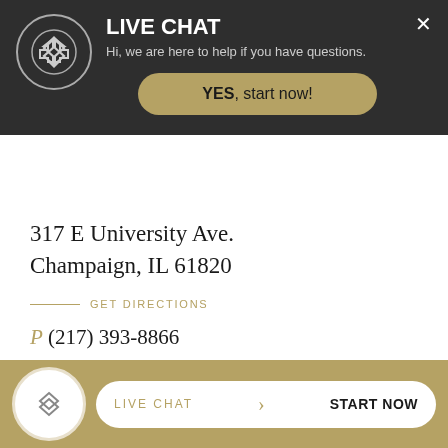[Figure (screenshot): Live chat overlay banner with logo, title LIVE CHAT, subtitle text, close button, and YES start now button]
317 E University Ave.
Champaign, IL 61820
GET DIRECTIONS
P (217) 393-8866
F (217) 433-4545
DANVILLE OFFICE
Spiros Law, P.C.
2807 N Vermilion St #3
Danv...
[Figure (screenshot): Bottom chat bar with logo circle and LIVE CHAT / START NOW pill button]